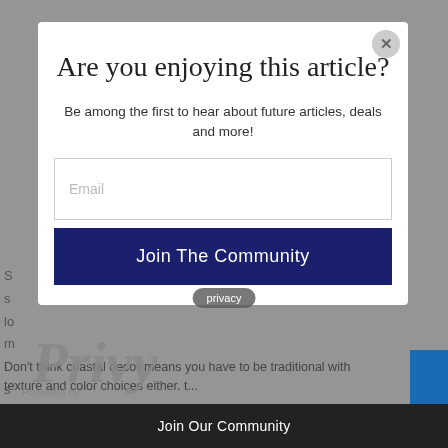Are you enjoying this article?
Be among the first to hear about future articles, deals and more!
Email
Join The Community
S... s... lo... m... i... s... style.
Don't think coastal decor means you have to be traditional with texture and color choices either. t...
privacy
[Figure (logo): Privy logo with cursive script text and 'Powered by' label]
Join Our Community